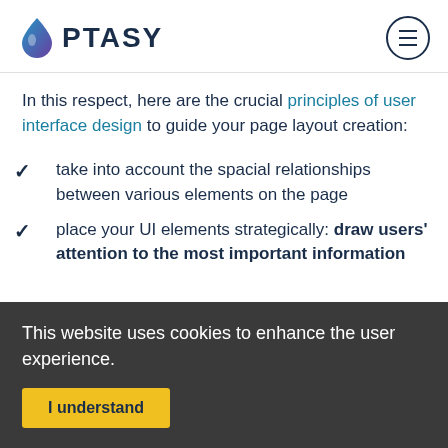OPTASY
In this respect, here are the crucial principles of user interface design to guide your page layout creation:
take into account the spacial relationships between various elements on the page
place your UI elements strategically: draw users' attention to the most important information
This website uses cookies to enhance the user experience.
I understand